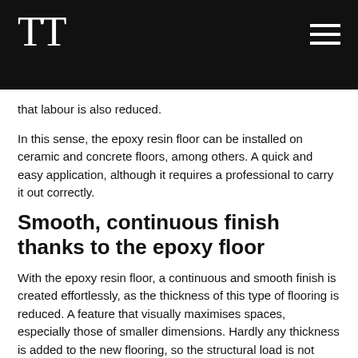TT
that labour is also reduced.
In this sense, the epoxy resin floor can be installed on ceramic and concrete floors, among others. A quick and easy application, although it requires a professional to carry it out correctly.
Smooth, continuous finish thanks to the epoxy floor
With the epoxy resin floor, a continuous and smooth finish is created effortlessly, as the thickness of this type of flooring is reduced. A feature that visually maximises spaces, especially those of smaller dimensions. Hardly any thickness is added to the new flooring, so the structural load is not affected at all.
The drying time of an epoxy floor is short